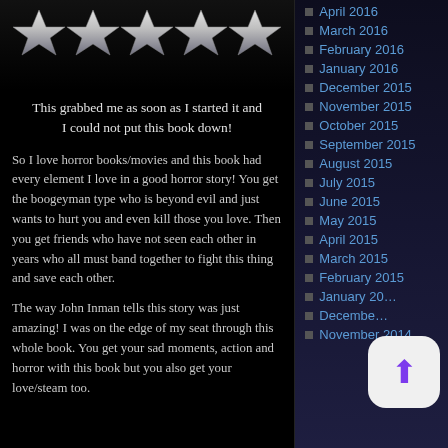[Figure (illustration): Five silver/metallic stars rating graphic at top of review]
This grabbed me as soon as I started it and I could not put this book down!
So I love horror books/movies and this book had every element I love in a good horror story! You get the boogeyman type who is beyond evil and just wants to hurt you and even kill those you love. Then you get friends who have not seen each other in years who all must band together to fight this thing and save each other.
The way John Inman tells this story was just amazing! I was on the edge of my seat through this whole book. You get your sad moments, action and horror with this book but you also get your love/steam too.
April 2016
March 2016
February 2016
January 2016
December 2015
November 2015
October 2015
September 2015
August 2015
July 2015
June 2015
May 2015
April 2015
March 2015
February 2015
January 20[15]
December [2014]
November 2014